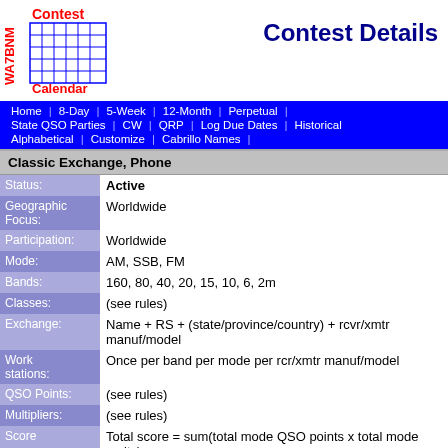[Figure (logo): WA7BNM Contest Calendar logo with grid calendar graphic, red and blue text]
Contest Details
Home | 8-Day | 5-Week | 12-Month | Perpetual | State QSO Parties | CW | QRP | Log Due Dates | Historical | Alphabetical | Customize | Cabrillo Names
Classic Exchange, Phone
| Field | Value |
| --- | --- |
| Status: | Active |
| Geographic Focus: | Worldwide |
| Participation: | Worldwide |
| Mode: | AM, SSB, FM |
| Bands: | 160, 80, 40, 20, 15, 10, 6, 2m |
| Classes: | (see rules) |
| Exchange: | Name + RS + (state/province/country) + rcvr/xmtr manuf/model |
| Work stations: | Once per band per mode per rcr/xmtr manuf/model |
| QSO Points: | (see rules) |
| Multipliers: | (see rules) |
| Score | Total score = sum(total mode QSO points x total mode mults) |